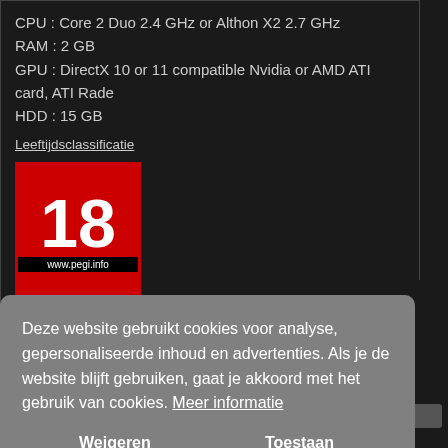CPU : Core 2 Duo 2.4 GHz or Althon X2 2.7 GHz
RAM : 2 GB
GPU : DirectX 10 or 11 compatible Nvidia or AMD ATI card, ATI Rade
HDD : 15 GB
Leeftijdsclassificatie
[Figure (logo): PEGI 18 age rating badge with red background and www.pegi.info URL]
Deze website gebruikt cookies voor analyse, gepersonaliseerde inhoud en advertenties. Als je de website blijft gebruiken, gaat je akkoord met het gebruik van cookies.  Meer informatie
Weigeren    Toestaan